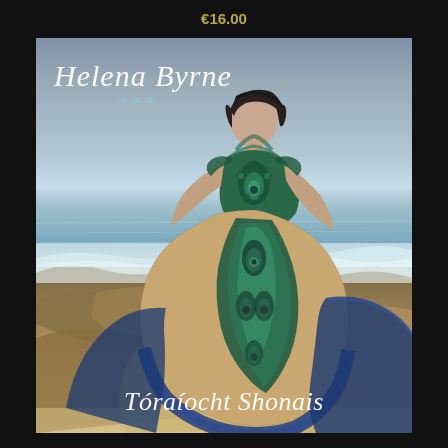€16.00
[Figure (photo): Album cover for Helena Byrne's 'Tóraíocht Shonais'. A woman with dark hair sits on coastal rocks wearing an elaborate peacock-feather and floral dress in teal, green, and blue tones. Ocean waves and cloudy sky are visible in the background. The artist name 'Helena Byrne' appears in white italic script at top left, and the album title 'Tóraíocht Shonais' appears in white italic script at the bottom center.]